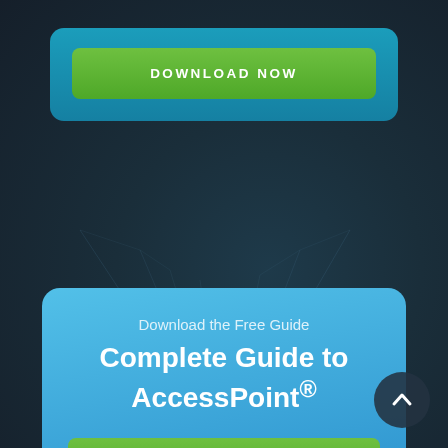[Figure (screenshot): Top card with teal background and green DOWNLOAD NOW button]
Download the Free Guide
Complete Guide to AccessPoint®
[Figure (screenshot): Green DOWNLOAD NOW button inside blue card]
[Figure (illustration): Scroll-to-top circular button with upward chevron arrow in bottom right corner]